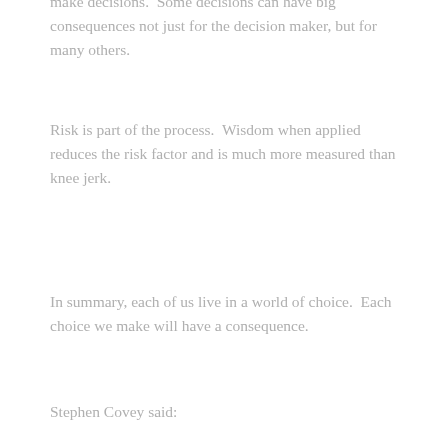make decisions. Some decisions can have big consequences not just for the decision maker, but for many others.
Risk is part of the process. Wisdom when applied reduces the risk factor and is much more measured than knee jerk.
In summary, each of us live in a world of choice. Each choice we make will have a consequence.
Stephen Covey said: